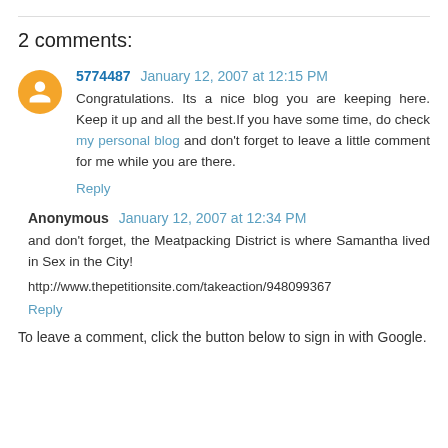2 comments:
5774487  January 12, 2007 at 12:15 PM
Congratulations. Its a nice blog you are keeping here. Keep it up and all the best.If you have some time, do check my personal blog and don't forget to leave a little comment for me while you are there.
Reply
Anonymous  January 12, 2007 at 12:34 PM
and don't forget, the Meatpacking District is where Samantha lived in Sex in the City!
http://www.thepetitionsite.com/takeaction/948099367
Reply
To leave a comment, click the button below to sign in with Google.